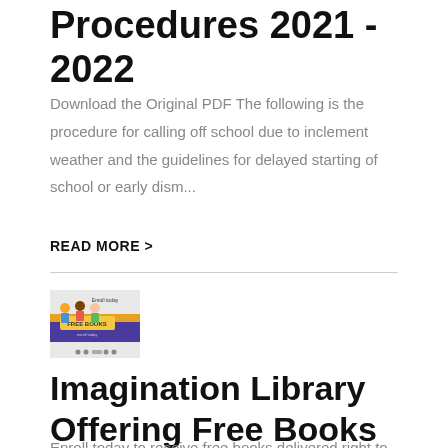Procedures 2021 - 2022
Download the Original PDF The following is the procedure for calling off school due to inclement weather and the guidelines for delayed starting of school or early dism...
READ MORE >
[Figure (illustration): Thumbnail image for Imagination Library Offering Free Books — shows cartoon children with books and text 'Enroll today FREE BOOKS']
Imagination Library Offering Free Books
Enroll today to receive free books delivered right to your front door! If you...